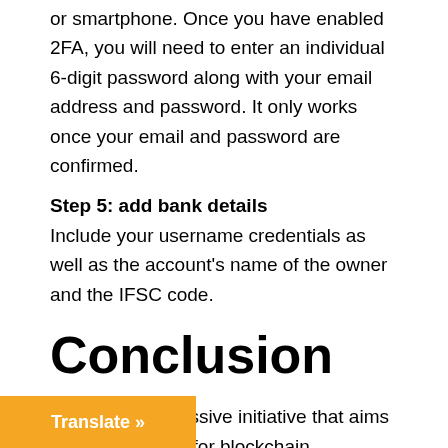or smartphone. Once you have enabled 2FA, you will need to enter an individual 6-digit password along with your email address and password. It only works once your email and password are confirmed.
Step 5: add bank details
Include your username credentials as well as the account’s name of the owner and the IFSC code.
Conclusion
Cardano is a massive initiative that aims an infrastructure for blockchain ntocurrency market. Although